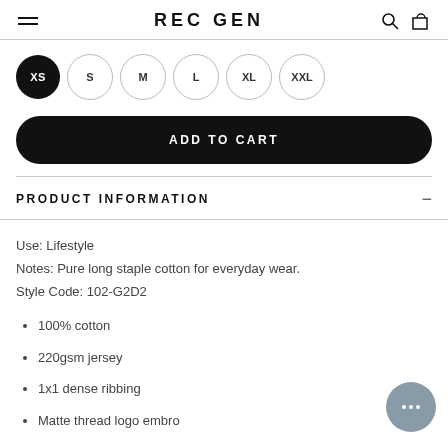REC GEN
XS S M L XL XXL (size selector)
ADD TO CART
PRODUCT INFORMATION
Use: Lifestyle
Notes: Pure long staple cotton for everyday wear.
Style Code: 102-G2D2
100% cotton
220gsm jersey
1x1 dense ribbing
Matte thread logo embro